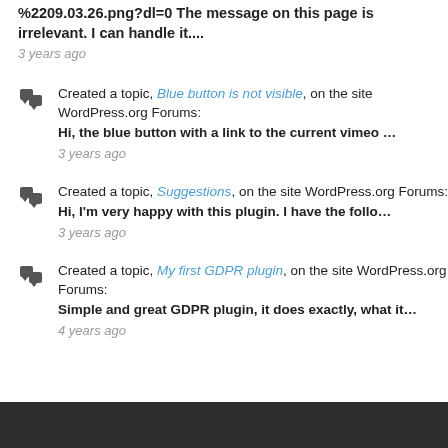%2209.03.26.png?dl=0 The message on this page is irrelevant. I can handle it....
3 years ago
Created a topic, Blue button is not visible, on the site WordPress.org Forums:
Hi, the blue button with a link to the current vimeo …
3 years ago
Created a topic, Suggestions, on the site WordPress.org Forums:
Hi, I'm very happy with this plugin. I have the follo…
3 years ago
Created a topic, My first GDPR plugin, on the site WordPress.org Forums:
Simple and great GDPR plugin, it does exactly, what it…
4 years ago